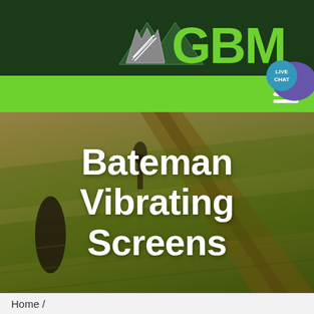[Figure (logo): GBM logo with mountain/arrow graphic in white and grey on dark green background with bright green GBM text]
[Figure (screenshot): Green navigation bar with white hamburger menu icon on the right and a Live Chat speech bubble icon in the top-right corner]
[Figure (photo): Aerial photograph of agricultural fields with dirt tracks, warm golden-green tones, with trees visible]
Bateman Vibrating Screens
Home /